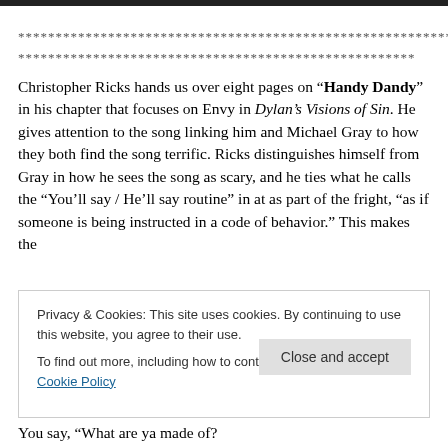***********************************************************************
*****************************************************
Christopher Ricks hands us over eight pages on “Handy Dandy” in his chapter that focuses on Envy in Dylan’s Visions of Sin. He gives attention to the song linking him and Michael Gray to how they both find the song terrific. Ricks distinguishes himself from Gray in how he sees the song as scary, and he ties what he calls the “You’ll say / He’ll say routine” in at as part of the fright, “as if someone is being instructed in a code of behavior.” This makes the
Privacy & Cookies: This site uses cookies. By continuing to use this website, you agree to their use.
To find out more, including how to control cookies, see here: Cookie Policy
You say, “What are ya made of?